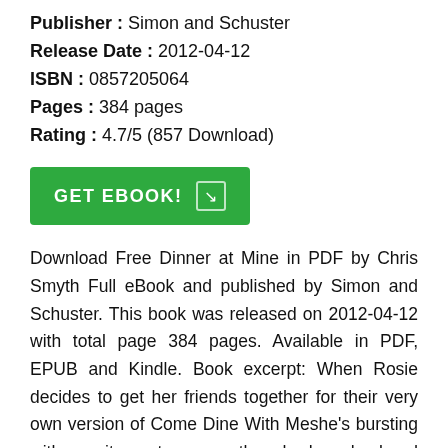Publisher : Simon and Schuster
Release Date : 2012-04-12
ISBN : 0857205064
Pages : 384 pages
Rating : 4.7/5 (857 Download)
[Figure (other): Green GET EBOOK! button with arrow icon]
Download Free Dinner at Mine in PDF by Chris Smyth Full eBook and published by Simon and Schuster. This book was released on 2012-04-12 with total page 384 pages. Available in PDF, EPUB and Kindle. Book excerpt: When Rosie decides to get her friends together for their very own version of Come Dine With Meshe's bursting with excitement, even though her husband Stephen is less than keen. But Rosie is adamant. Four couples, each hosting a